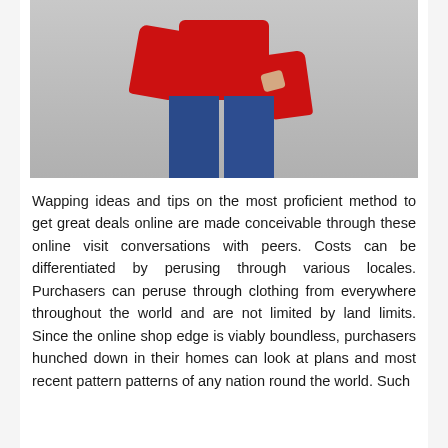[Figure (photo): Photo of a person wearing a red sweater and blue denim jeans, shown from the waist down, with one hand on hip against a light grey background.]
Wapping ideas and tips on the most proficient method to get great deals online are made conceivable through these online visit conversations with peers. Costs can be differentiated by perusing through various locales. Purchasers can peruse through clothing from everywhere throughout the world and are not limited by land limits. Since the online shop edge is viably boundless, purchasers hunched down in their homes can look at plans and most recent pattern patterns of any nation round the world. Such